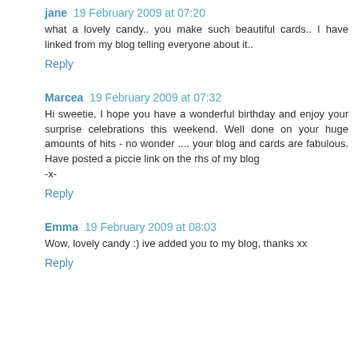jane 19 February 2009 at 07:20
what a lovely candy.. you make such beautiful cards.. I have linked from my blog telling everyone about it..
Reply
Marcea 19 February 2009 at 07:32
Hi sweetie, I hope you have a wonderful birthday and enjoy your surprise celebrations this weekend. Well done on your huge amounts of hits - no wonder .... your blog and cards are fabulous. Have posted a piccie link on the rhs of my blog
-x-
Reply
Emma 19 February 2009 at 08:03
Wow, lovely candy :) ive added you to my blog, thanks xx
Reply